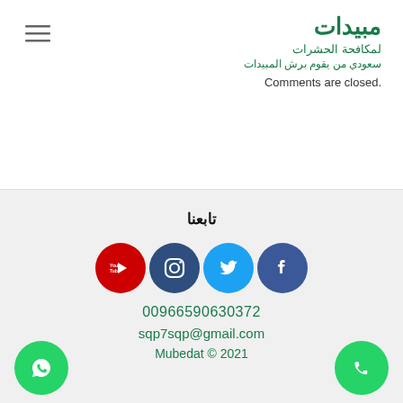[Figure (logo): Hamburger menu icon (three horizontal lines)]
مبيدات
لمكافحة الحشرات
سعودي من يقوم برش المبيدات
Comments are closed.
تابعنا
[Figure (infographic): Social media icons: YouTube (red), Instagram (dark blue), Twitter (light blue), Facebook (dark blue)]
00966590630372
sqp7sqp@gmail.com
Mubedat © 2021
[Figure (logo): WhatsApp green circle button with phone/chat icon, bottom left]
[Figure (logo): Phone green circle button, bottom right]